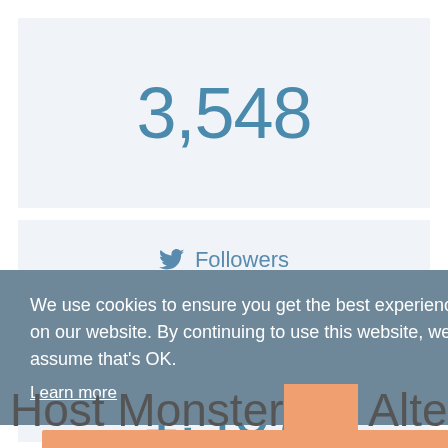3,548
Followers
1,407
We use cookies to ensure you get the best experience on our website. By continuing to use this website, we'll assume that's OK.
Learn more
OK
Host Monster Alternatives